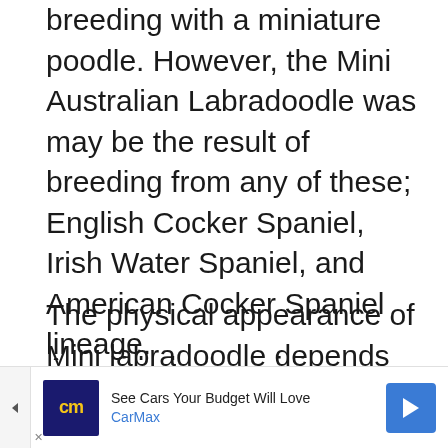breeding with a miniature poodle. However, the Mini Australian Labradoodle was may be the result of breeding from any of these; English Cocker Spaniel, Irish Water Spaniel, and American Cocker Spaniel lineage.
The physical appearance of Mini labradoodle depends on the parents. Their coats come in a wide range of colors, textures, and lengths.
As said above, mini Labradoodles have the same traits as of the normal size but it is small
[Figure (other): CarMax advertisement banner: 'See Cars Your Budget Will Love' with CarMax logo and navigation arrow icon]